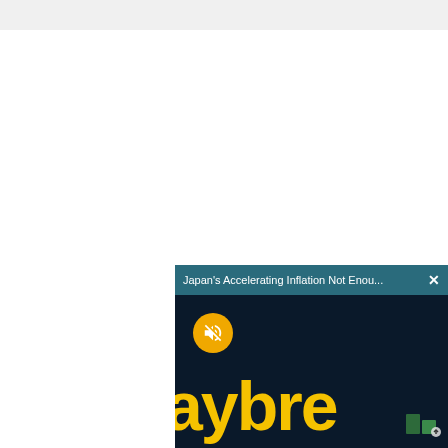[Figure (screenshot): A screenshot of a web page showing a video popup overlay. The popup has a teal/dark cyan title bar reading 'Japan's Accelerating Inflation Not Enou...' with a white X close button. The video thumbnail shows a dark background with the word 'aybre' (partial 'Daybreak') in large bold yellow text, and a muted speaker icon in a yellow/orange circle at the top left of the video area. A small stock chart icon is visible in the bottom right corner.]